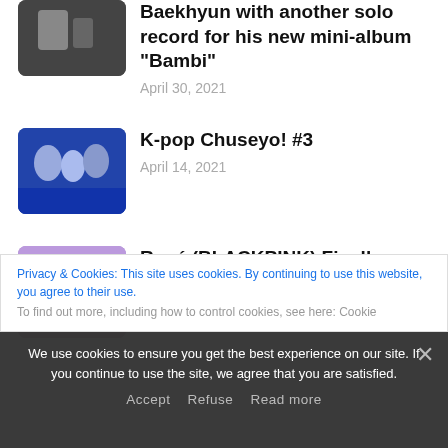Baekhyun with another solo record for his new mini-album "Bambi"
April 30, 2021
[Figure (photo): Thumbnail image for K-pop Chuseyo #3 article showing a group of performers on a blue stage]
K-pop Chuseyo! #3
April 14, 2021
[Figure (photo): Thumbnail image for Rosé (BLACKPINK) article showing Rosé in a purple outfit]
Rosé (BLACKPINK) Finally Debuts Solo
March 22, 2021
Privacy & Cookies: This site uses cookies. By continuing to use this website, you agree to their use.
To find out more, including how to control cookies, see here: Cookie
We use cookies to ensure you get the best experience on our site. If you continue to use the site, we agree that you are satisfied.
Accept   Refuse   Read more